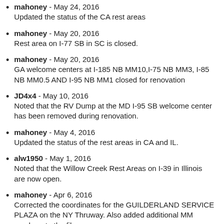mahoney - May 24, 2016
Updated the status of the CA rest areas
mahoney - May 20, 2016
Rest area on I-77 SB in SC is closed.
mahoney - May 20, 2016
GA welcome centers at I-185 NB MM10,I-75 NB MM3, I-85 NB MM0.5 AND I-95 NB MM1 closed for renovation
JD4x4 - May 10, 2016
Noted that the RV Dump at the MD I-95 SB welcome center has been removed during renovation.
mahoney - May 4, 2016
Updated the status of the rest areas in CA and IL.
alw1950 - May 1, 2016
Noted that the Willow Creek Rest Areas on I-39 in Illinois are now open.
mahoney - Apr 6, 2016
Corrected the coordinates for the GUILDERLAND SERVICE PLAZA on the NY Thruway. Also added additional MM numbers to the file.